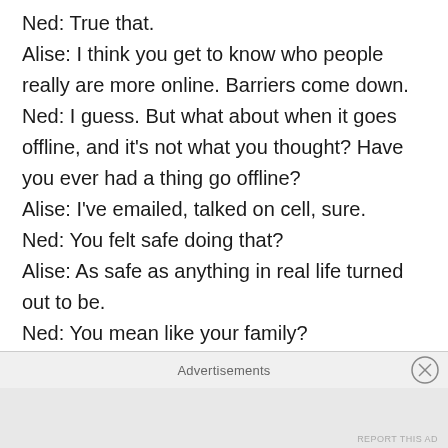Ned: True that.
Alise: I think you get to know who people really are more online. Barriers come down.
Ned: I guess. But what about when it goes offline, and it's not what you thought? Have you ever had a thing go offline?
Alise: I've emailed, talked on cell, sure.
Ned: You felt safe doing that?
Alise: As safe as anything in real life turned out to be.
Ned: You mean like your family?
Alise: I thought we'd always be together. Then one day I come home and it's gone. No more. At
Advertisements